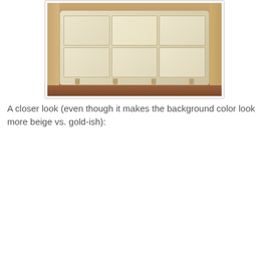[Figure (photo): Antique painted dresser/chest of drawers with floral and parrot motifs on a cream/gold background, photographed in a room with hardwood floors and neutral walls]
A closer look (even though it makes the background color look more beige vs. gold-ish):
[Figure (photo): Close-up view of the painted dresser surface showing detailed floral paintings with red and pink flowers, a large red parrot on the left, a green parrot on the right, decorative blue vase motif on far left, and decorative bird motif on far right, on a beige/cream background with visible drawer division lines]